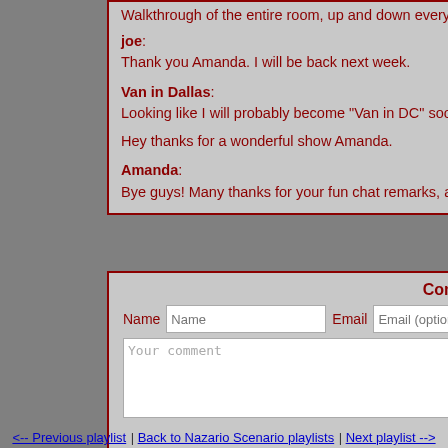Walkthrough of the entire room, up and down every aisle, using the mobile phone. It came to close to eight minutes!
joe: 2:58pm
Thank you Amanda. I will be back next week.
Van in Dallas: 2:58pm
Looking like I will probably become "Van in DC" soon. If so, I hope to make next year's record fair.

Hey thanks for a wonderful show Amanda.
Amanda: 2:58pm
Bye guys! Many thanks for your fun chat remarks, as always. See you next week.
Comment! Sign in | Register
Name [Name] Email [Email (optional)]
[Your comment]
[Post comment!]
<-- Previous playlist | Back to Nazario Scenario playlists | Next playlist -->